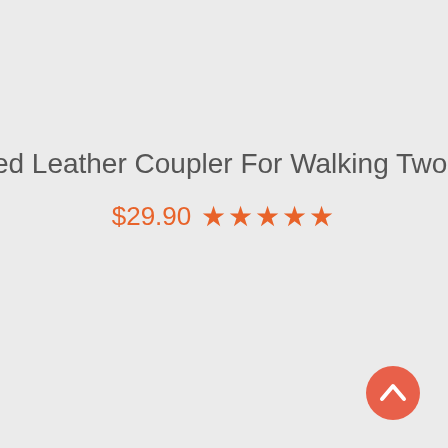Braided Leather Coupler For Walking Two Dogs
$29.90 ★★★★★
[Figure (other): Back-to-top button: circular red/coral button with white upward-pointing chevron arrow in bottom-right corner]